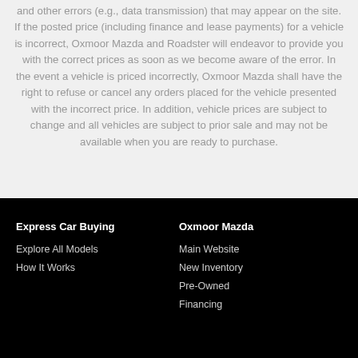and other errors (e.g., data transmission) that may appear on the site. If the posted price (including finance and lease payments) for a vehicle is incorrect, Oxmoor Mazda and Roadster will endeavor to provide you with the correct prices as soon as we become aware of the error. In the event a vehicle is priced incorrectly, Oxmoor Mazda shall have the right to refuse or cancel any orders placed for the vehicle presented with the incorrect price. In addition, vehicle prices are subject to change and all vehicles are subject to prior sale and may not be available when you are ready to purchase.
Express Car Buying
Explore All Models
How It Works
Oxmoor Mazda
Main Website
New Inventory
Pre-Owned
Financing